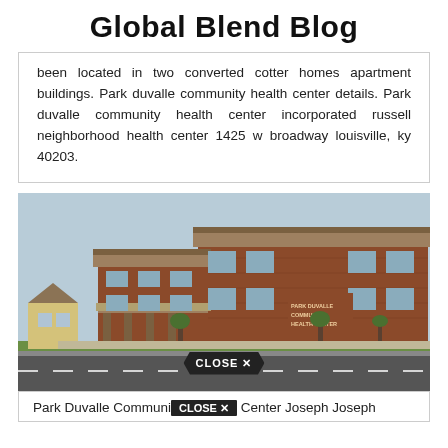Global Blend Blog
been located in two converted cotter homes apartment buildings. Park duvalle community health center details. Park duvalle community health center incorporated russell neighborhood health center 1425 w broadway louisville, ky 40203.
[Figure (photo): Exterior photo of Park Duvalle Community Health Center, a two-story red brick building with a covered entrance canopy and signage on the building facade reading PARK DUVALLE COMMUNITY HEALTH CENTER.]
Park Duvalle Community Health Center Joseph Joseph